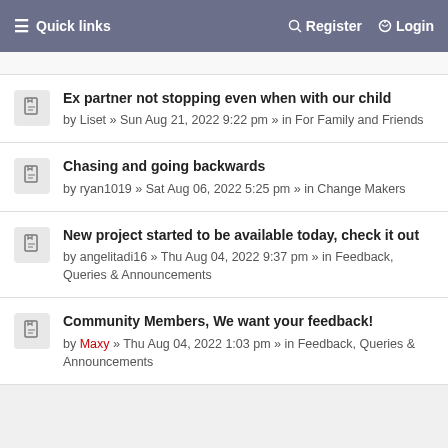≡ Quick links   🔑 Register   ⏻ Login
Ex partner not stopping even when with our child
by Liset » Sun Aug 21, 2022 9:22 pm » in For Family and Friends
Chasing and going backwards
by ryan1019 » Sat Aug 06, 2022 5:25 pm » in Change Makers
New project started to be available today, check it out
by angelitadi16 » Thu Aug 04, 2022 9:37 pm » in Feedback, Queries & Announcements
Community Members, We want your feedback!
by Maxy » Thu Aug 04, 2022 1:03 pm » in Feedback, Queries & Announcements